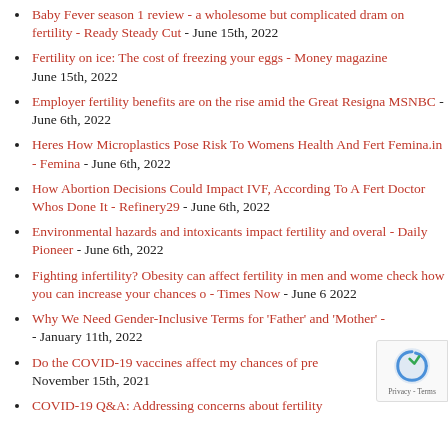Baby Fever season 1 review - a wholesome but complicated drama on fertility - Ready Steady Cut - June 15th, 2022
Fertility on ice: The cost of freezing your eggs - Money magazine - June 15th, 2022
Employer fertility benefits are on the rise amid the Great Resignation - MSNBC - June 6th, 2022
Heres How Microplastics Pose Risk To Womens Health And Fertility - Femina.in - Femina - June 6th, 2022
How Abortion Decisions Could Impact IVF, According To A Fertility Doctor Whos Done It - Refinery29 - June 6th, 2022
Environmental hazards and intoxicants impact fertility and overall health - Daily Pioneer - June 6th, 2022
Fighting infertility? Obesity can affect fertility in men and women, check how you can increase your chances o - Times Now - June 6th, 2022
Why We Need Gender-Inclusive Terms for 'Father' and 'Mother' - January 11th, 2022
Do the COVID-19 vaccines affect my chances of pregnancy - November 15th, 2021
COVID-19 Q&A: Addressing concerns about fertility - November 15th, 2021